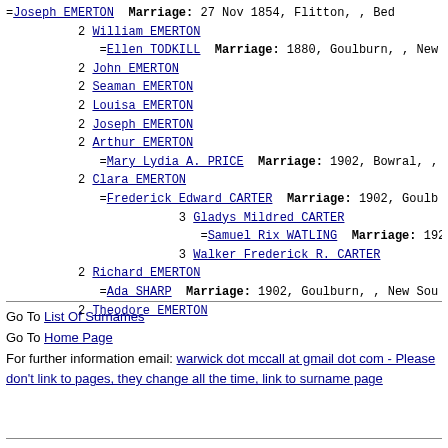=Joseph EMERTON  Marriage: 27 Nov 1854, Flitton, , Bed
2 William EMERTON
=Ellen TODKILL  Marriage: 1880, Goulburn, , New
2 John EMERTON
2 Seaman EMERTON
2 Louisa EMERTON
2 Joseph EMERTON
2 Arthur EMERTON
=Mary Lydia A. PRICE  Marriage: 1902, Bowral, ,
2 Clara EMERTON
=Frederick Edward CARTER  Marriage: 1902, Goulb
3 Gladys Mildred CARTER
=Samuel Rix WATLING  Marriage: 1927, Mo
3 Walker Frederick R. CARTER
2 Richard EMERTON
=Ada SHARP  Marriage: 1902, Goulburn, , New Sou
2 Theodore EMERTON
Go To List Of Surnames
Go To Home Page
For further information email: warwick dot mccall at gmail dot com - Please don't link to pages, they change all the time, link to surname page